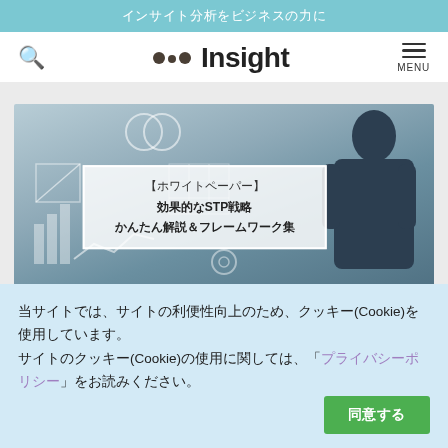インサイト分析をビジネスの力に
[Figure (logo): Insight logo with three dots and bold 'Insight' text, search icon on left, hamburger MENU on right]
[Figure (photo): Hero image showing a businessman from behind looking at a whiteboard with business diagrams. White text box overlay reads: 【ホワイトペーパー】 効果的なSTP戦略 かんたん解説＆フレームワーク集]
当サイトでは、サイトの利便性向上のため、クッキー(Cookie)を使用しています。サイトのクッキー(Cookie)の使用に関しては、「プライバシーポリシー」をお読みください。
同意する